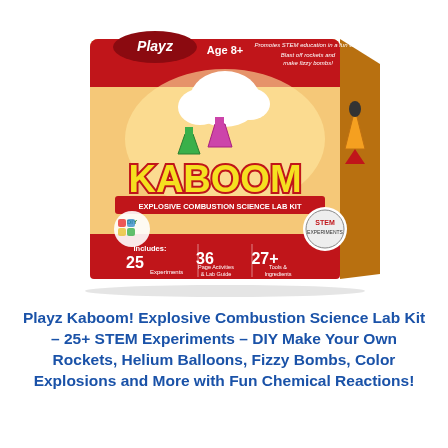[Figure (photo): Playz Kaboom! Explosive Combustion Science Lab Kit product box. Red and yellow box featuring the 'Playz' logo, 'Age 8+' label, 'KABOOM' title in large yellow/red letters, 'Explosive Combustion Science Lab Kit' subtitle, DIY puzzle logo, STEM Experiments badge, and bottom panel stating 'Includes: 25 Experiments, 36 Page Activities & Lab Guide, 27+ Tools & Ingredients'. The box shows cartoon illustrations of rockets, chemical flasks, explosions, and fizzy reactions.]
Playz Kaboom! Explosive Combustion Science Lab Kit – 25+ STEM Experiments – DIY Make Your Own Rockets, Helium Balloons, Fizzy Bombs, Color Explosions and More with Fun Chemical Reactions!